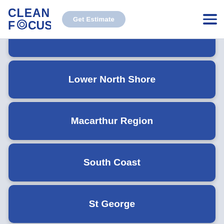[Figure (logo): Clean Focus logo with circular @ symbol in the letter O of FOCUS]
Get Estimate
Lower North Shore
Macarthur Region
South Coast
St George
Sutherland